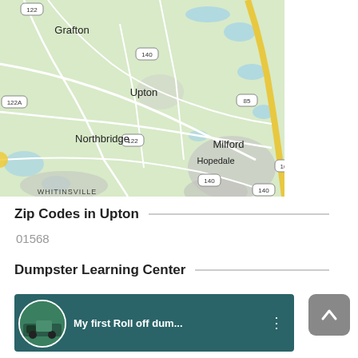[Figure (map): Google Maps screenshot showing towns of Grafton, Upton, Northbridge, Milford, Hopedale, Whitinsville area in Massachusetts with route numbers 122, 122A, 140, 85, 16]
Zip Codes in Upton
01568
Dumpster Learning Center
[Figure (screenshot): Video thumbnail for 'My first Roll off dum...' showing a green dumpster truck]